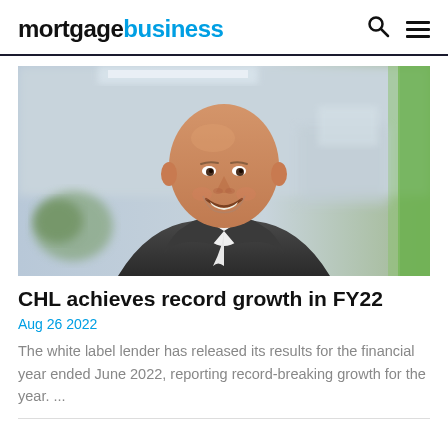mortgagebusiness
[Figure (photo): Portrait photo of a smiling bald man in a dark blazer and white shirt, in a modern office environment with blurred background and green accent wall]
CHL achieves record growth in FY22
Aug 26 2022
The white label lender has released its results for the financial year ended June 2022, reporting record-breaking growth for the year. ...